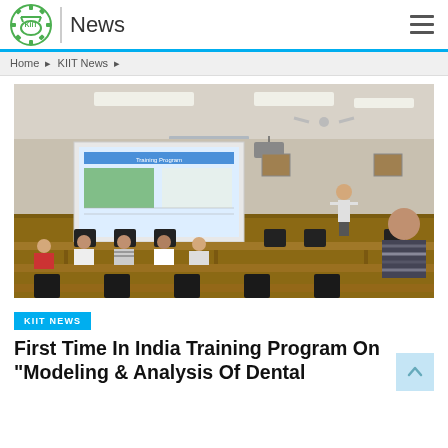KIIT News
Home > KIIT News >
[Figure (photo): A seminar/training session in a conference room with participants seated at rows of tables and a presenter standing near a projected presentation screen.]
KIIT NEWS
First Time In India Training Program On “Modeling & Analysis Of Dental